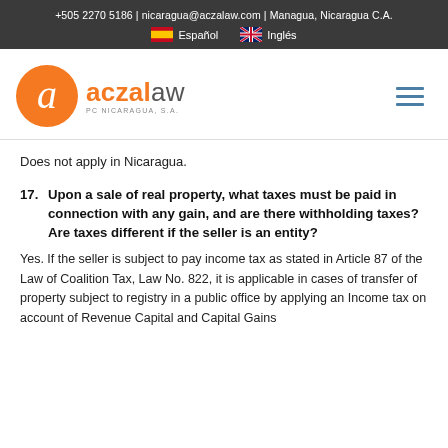+505 2270 5186 | nicaragua@aczalaw.com | Managua, Nicaragua C.A.
Español   Inglés
[Figure (logo): Aczalaw PC Nicaragua S.A. logo with orange circle and letter a]
Does not apply in Nicaragua.
17. Upon a sale of real property, what taxes must be paid in connection with any gain, and are there withholding taxes? Are taxes different if the seller is an entity?
Yes. If the seller is subject to pay income tax as stated in Article 87 of the Law of Coalition Tax, Law No. 822, it is applicable in cases of transfer of property subject to registry in a public office by applying an Income tax on account of Revenue Capital and Capital Gains and Income, at this rate, the tax rate is the seller 1, 2, or 3, 4%